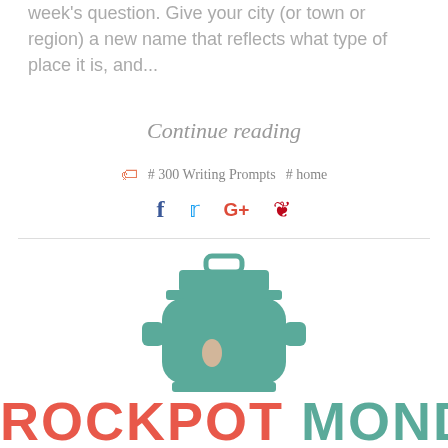week's question. Give your city (or town or region) a new name that reflects what type of place it is, and...
Continue reading
# 300 Writing Prompts  # home
[Figure (illustration): Teal/green crockpot slow cooker icon illustration with lid handle and small oval indicator on front]
ROCKPOT MONDA